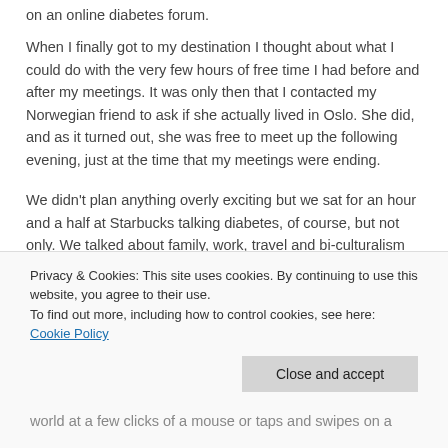on an online diabetes forum.
When I finally got to my destination I thought about what I could do with the very few hours of free time I had before and after my meetings. It was only then that I contacted my Norwegian friend to ask if she actually lived in Oslo. She did, and as it turned out, she was free to meet up the following evening, just at the time that my meetings were ending.
We didn't plan anything overly exciting but we sat for an hour and a half at Starbucks talking diabetes, of course, but not only. We talked about family, work, travel and bi-culturalism as if we had been close friends for years. But in reality, we
Privacy & Cookies: This site uses cookies. By continuing to use this website, you agree to their use.
To find out more, including how to control cookies, see here: Cookie Policy
world at a few clicks of a mouse or taps and swipes on a